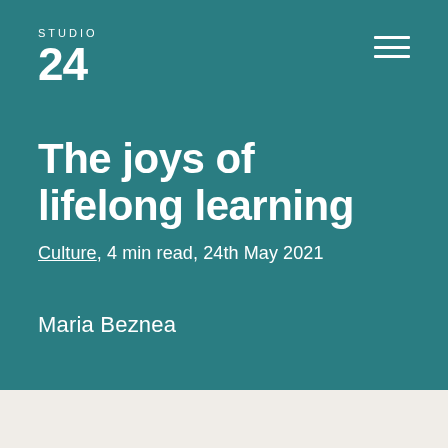STUDIO 24
The joys of lifelong learning
Culture, 4 min read, 24th May 2021
Maria Beznea